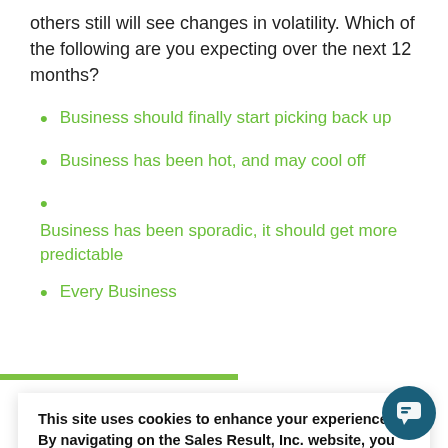others still will see changes in volatility. Which of the following are you expecting over the next 12 months?
Business should finally start picking back up
Business has been hot, and may cool off
Business has been sporadic, it should get more predictable
Every Business
This site uses cookies to enhance your experience. By navigating on the Sales Result, Inc. website, you agree to our use of cookies during your browsing experience.